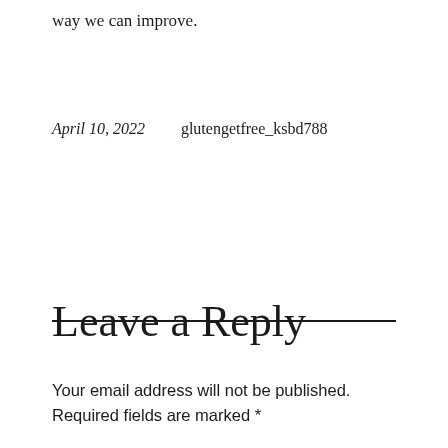way we can improve.
April 10, 2022    glutengetfree_ksbd788
Leave a Reply
Your email address will not be published. Required fields are marked *